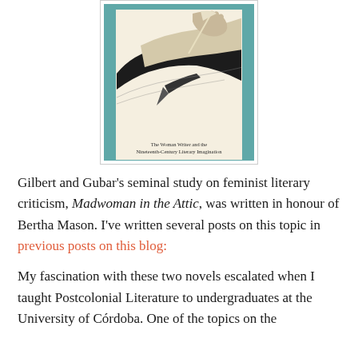[Figure (illustration): Book cover of 'The Woman Writer and the Nineteenth-Century Literary Imagination' featuring a decorative illustration of a hand with a quill pen and birds on a teal/cream background]
Gilbert and Gubar's seminal study on feminist literary criticism, Madwoman in the Attic, was written in honour of Bertha Mason. I've written several posts on this topic in previous posts on this blog:
My fascination with these two novels escalated when I taught Postcolonial Literature to undergraduates at the University of Córdoba. One of the topics on the